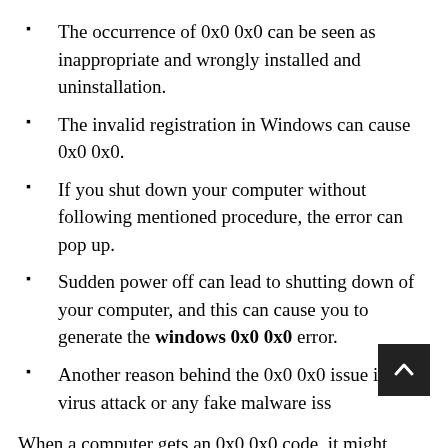The occurrence of 0x0 0x0 can be seen as inappropriate and wrongly installed and uninstallation.
The invalid registration in Windows can cause 0x0 0x0.
If you shut down your computer without following mentioned procedure, the error can pop up.
Sudden power off can lead to shutting down of your computer, and this can cause you to generate the windows 0x0 0x0 error.
Another reason behind the 0x0 0x0 issue is the virus attack or any fake malware iss…
When a computer gets an 0x0 0x0 code, it might